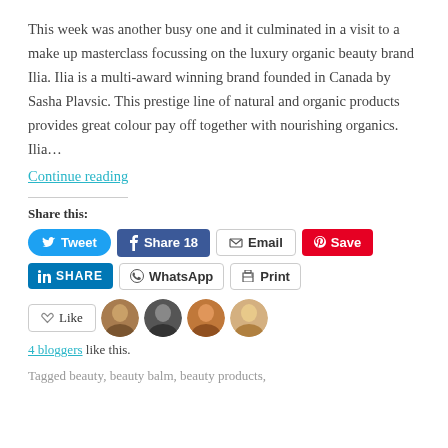This week was another busy one and it culminated in a visit to a make up masterclass focussing on the luxury organic beauty brand Ilia. Ilia is a multi-award winning brand founded in Canada by Sasha Plavsic. This prestige line of natural and organic products provides great colour pay off together with nourishing organics. Ilia…
Continue reading
Share this:
Tweet  Share 18  Email  Save  SHARE  WhatsApp  Print
Like  4 bloggers like this.
Tagged beauty, beauty balm, beauty products,